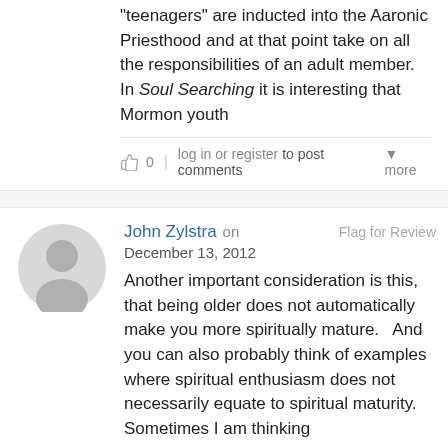Teenagers are inducted into the Aaronic Priesthood and at that point take on all the responsibilities of an adult member. In Soul Searching it is interesting that Mormon youth
👍 0 | log in or register to post comments ▾ more
John Zylstra on December 13, 2012 Flag for Review
Another important consideration is this, that being older does not automatically make you more spiritually mature.   And you can also probably think of examples where spiritual enthusiasm does not necessarily equate to spiritual maturity.   Sometimes I am thinking
👍 0 | log in or register to post comments ▾ more